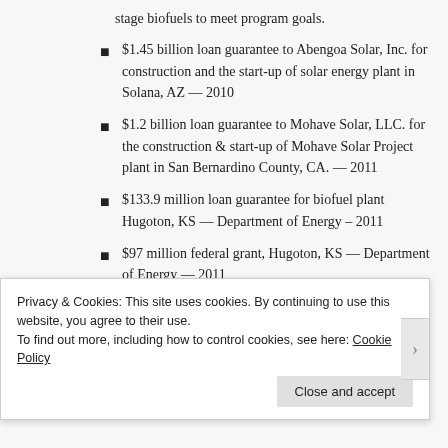stage biofuels to meet program goals.
$1.45 billion loan guarantee to Abengoa Solar, Inc. for construction and the start-up of solar energy plant in Solana, AZ — 2010
$1.2 billion loan guarantee to Mohave Solar, LLC. for the construction & start-up of Mohave Solar Project plant in San Bernardino County, CA. — 2011
$133.9 million loan guarantee for biofuel plant Hugoton, KS — Department of Energy – 2011
$97 million federal grant, Hugoton, KS — Department of Energy — 2011
$1.02 million in grants and federal contracts for...
Privacy & Cookies: This site uses cookies. By continuing to use this website, you agree to their use.
To find out more, including how to control cookies, see here: Cookie Policy
Close and accept